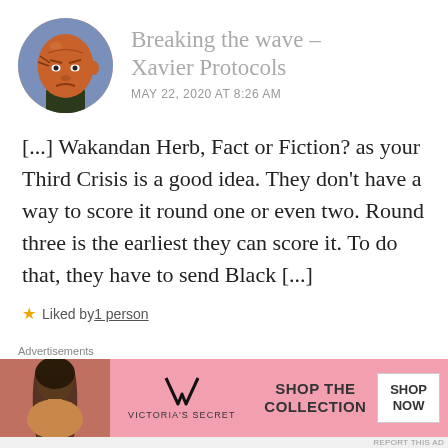Breaking the wave – Xavier Protocols
MAY 22, 2020 AT 8:26 AM
[...] Wakandan Herb, Fact or Fiction? as your Third Crisis is a good idea. They don't have a way to score it round one or even two. Round three is the earliest they can score it. To do that, they have to send Black [...]
★ Liked by 1 person
Advertisements
[Figure (photo): Victoria's Secret advertisement banner with model, VS logo, 'SHOP THE COLLECTION' text, and 'SHOP NOW' button]